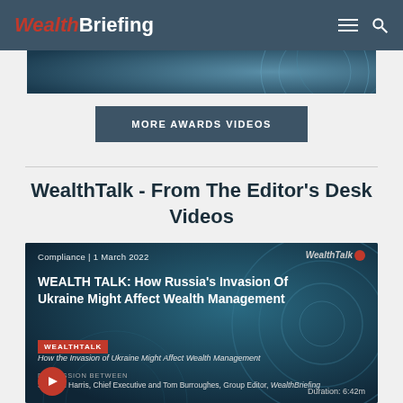WealthBriefing
[Figure (screenshot): Partial banner image with blue/teal abstract circular design]
MORE AWARDS VIDEOS
WealthTalk - From The Editor's Desk Videos
[Figure (screenshot): Video thumbnail for WealthTalk: How Russia's Invasion Of Ukraine Might Affect Wealth Management. Compliance | 1 March 2022. Discussion between Stephen Harris, Chief Executive and Tom Burroughes, Group Editor, WealthBriefing. Duration: 6:42m]